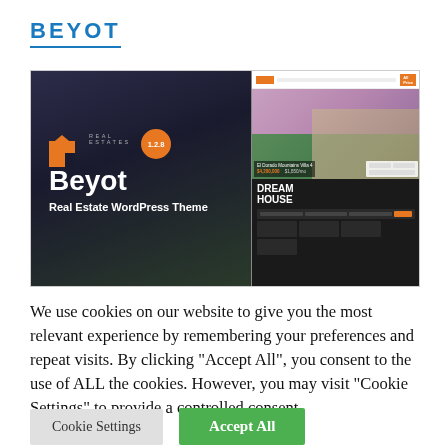BEYOT
[Figure (screenshot): Screenshot of the Beyot Real Estate WordPress Theme website, showing version 1.2.8 badge, the Beyot logo with orange icon, and text 'Real Estate WordPress Theme' on a dark background on the left, and a browser window showing the Beyot real estate website with an orange navbar, house images, and a 'Dream House' search section on the right.]
We use cookies on our website to give you the most relevant experience by remembering your preferences and repeat visits. By clicking "Accept All", you consent to the use of ALL the cookies. However, you may visit "Cookie Settings" to provide a controlled consent.
Cookie Settings
Accept All